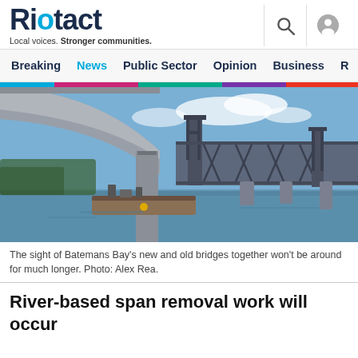Riotact – Local voices. Stronger communities.
Breaking | News | Public Sector | Opinion | Business | R
[Figure (photo): View from underneath a new concrete bridge at Batemans Bay, with the old steel truss bridge visible in the background over a river, construction barge in the water below.]
The sight of Batemans Bay's new and old bridges together won't be around for much longer. Photo: Alex Rea.
River-based span removal work will occur